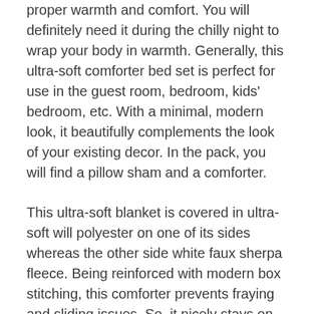proper warmth and comfort. You will definitely need it during the chilly night to wrap your body in warmth. Generally, this ultra-soft comforter bed set is perfect for use in the guest room, bedroom, kids' bedroom, etc. With a minimal, modern look, it beautifully complements the look of your existing decor. In the pack, you will find a pillow sham and a comforter.
This ultra-soft blanket is covered in ultra-soft will polyester on one of its sides whereas the other side white faux sherpa fleece. Being reinforced with modern box stitching, this comforter prevents fraying and sliding issues. So, it nicely stays on your bed.
5. AmazonBasics 7-Piece Bed-In-A-Bag Comforter Bedding Set